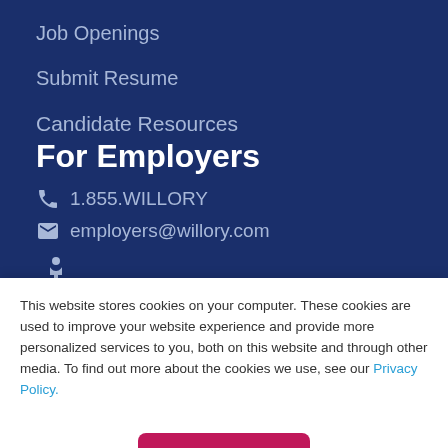Job Openings
Submit Resume
Candidate Resources
For Employers
1.855.WILLORY
employers@willory.com
For Candidates
This website stores cookies on your computer. These cookies are used to improve your website experience and provide more personalized services to you, both on this website and through other media. To find out more about the cookies we use, see our Privacy Policy.
Accept